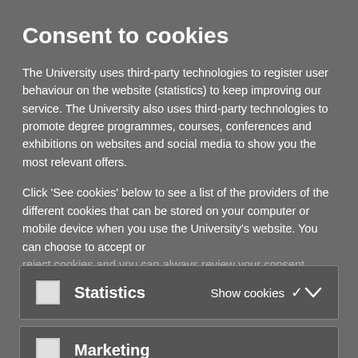Consent to cookies
The University uses third-party technologies to register user behaviour on the website (statistics) to keep improving our service. The University also uses third-party technologies to promote degree programmes, courses, conferences and exhibitions on websites and social media to show you the most relevant offers.
Click 'See cookies' below to see a list of the providers of the different cookies that can be stored on your computer or mobile device when you use the University's website. You can choose to accept or reject cookies and you can always review your consent
Statistics  Show cookies ∨
Marketing